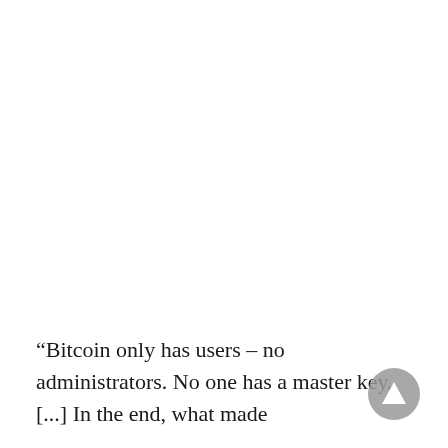“Bitcoin only has users – no administrators. No one has a master key. [...] In the end, what made